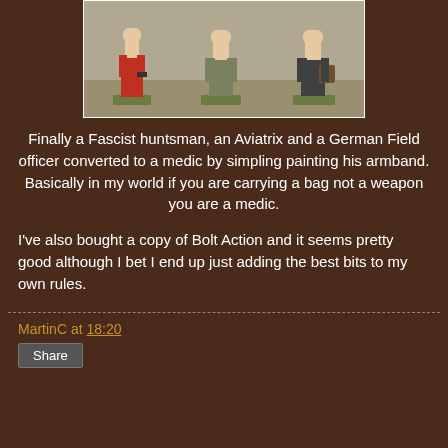[Figure (photo): Three painted miniature figurines on green bases: a figure in red coat, a figure in olive/khaki uniform, and a figure in dark uniform carrying a bag.]
Finally a Fascist huntsman, an Aviatrix and a German Field officer converted to a medic by simpling painting his armband. Basically in my world if you are carrying a bag not a weapon you are a medic.
I've also bought a copy of Bolt Action and it seems pretty good although I bet I end up just adding the best bits to my own rules.
MartinC at 18:20  Share